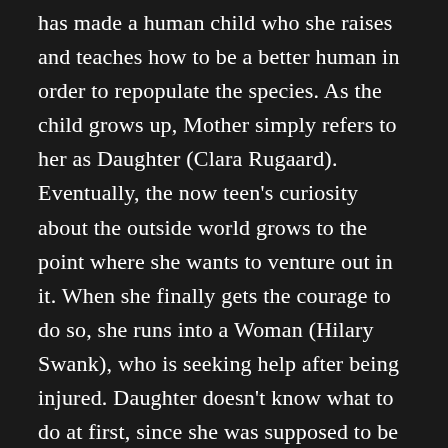has made a human child who she raises and teaches how to be a better human in order to repopulate the species. As the child grows up, Mother simply refers to her as Daughter (Clara Rugaard). Eventually, the now teen's curiosity about the outside world grows to the point where she wants to venture out in it. When she finally gets the courage to do so, she runs into a Woman (Hilary Swank), who is seeking help after being injured. Daughter doesn't know what to do at first, since she was supposed to be the only human left alive, but her instinct kicks in and she brings the Woman in, but hides her from Mother. Soon though she can no longer hide her, but the Woman